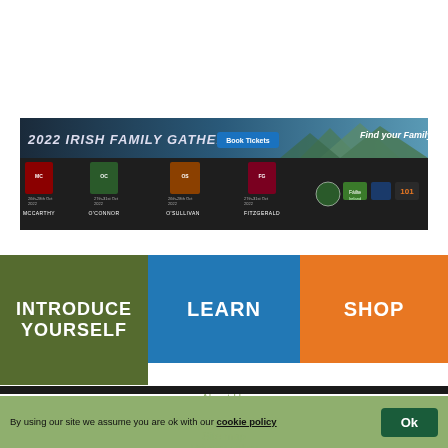[Figure (infographic): 2022 Irish Family Gatherings banner with Book Tickets button, clan crests for McCarthy, O'Connor, O'Sullivan, Fitzgerald with dates in Oct 2022, Find your Family @ 101 text, and sponsor logos]
INTRODUCE YOURSELF
LEARN
SHOP
By using our site we assume you are ok with our cookie policy
Ok
About Us
Site map
Privacy policy